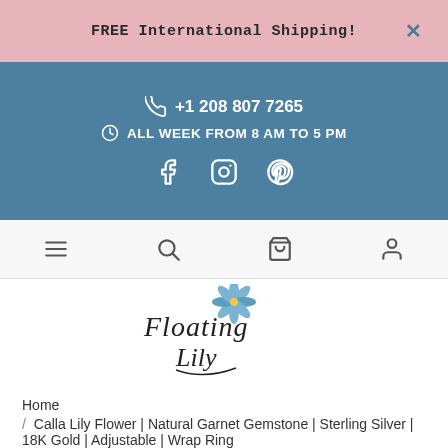FREE International Shipping!
+1 208 807 7265
ALL WEEK FROM 8 AM TO 5 PM
[Figure (screenshot): Social media icons: Facebook, Instagram, Pinterest]
[Figure (screenshot): Navigation bar with hamburger menu, search, cart, and user account icons]
[Figure (logo): Floating Lily brand logo with stylized script text and blue flower illustration]
Home
/ Calla Lily Flower | Natural Garnet Gemstone | Sterling Silver | 18K Gold | Adjustable | Wrap Ring